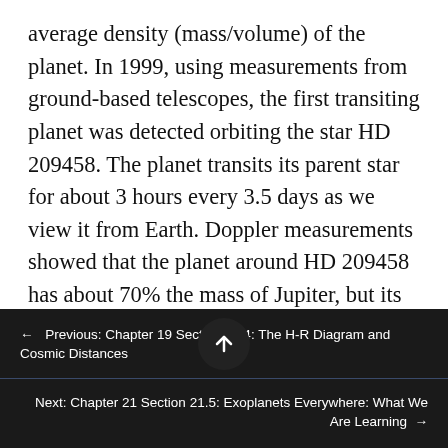average density (mass/volume) of the planet. In 1999, using measurements from ground-based telescopes, the first transiting planet was detected orbiting the star HD 209458. The planet transits its parent star for about 3 hours every 3.5 days as we view it from Earth. Doppler measurements showed that the planet around HD 209458 has about 70% the mass of Jupiter, but its radius is about 35% larger than Jupiter's. This was the first case where we could determine what an exoplanet was made of—with that mass and radius, HD 209458 must
← Previous: Chapter 19 Section 19.4: The H-R Diagram and Cosmic Distances
Next: Chapter 21 Section 21.5: Exoplanets Everywhere: What We Are Learning →